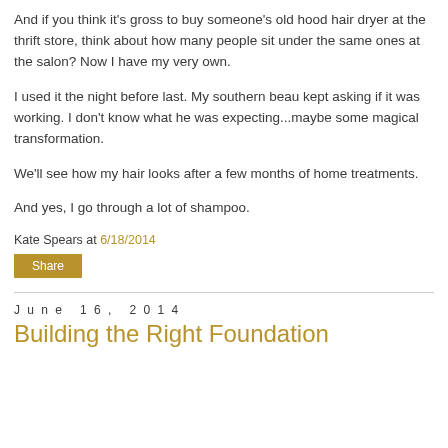And if you think it's gross to buy someone's old hood hair dryer at the thrift store, think about how many people sit under the same ones at the salon? Now I have my very own.
I used it the night before last. My southern beau kept asking if it was working. I don't know what he was expecting...maybe some magical transformation.
We'll see how my hair looks after a few months of home treatments.
And yes, I go through a lot of shampoo.
Kate Spears at 6/18/2014
Share
June 16, 2014
Building the Right Foundation